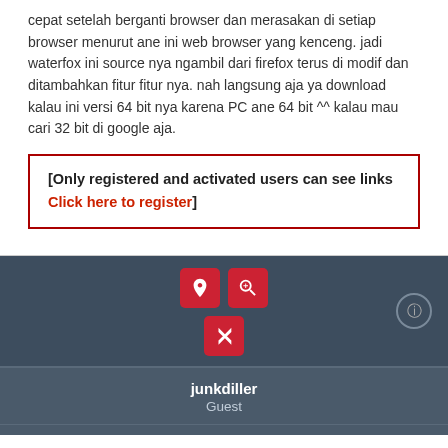cepat setelah berganti browser dan merasakan di setiap browser menurut ane ini web browser yang kenceng. jadi waterfox ini source nya ngambil dari firefox terus di modif dan ditambahkan fitur fitur nya. nah langsung aja ya download kalau ini versi 64 bit nya karena PC ane 64 bit ^^ kalau mau cari 32 bit di google aja.
[Only registered and activated users can see links Click here to register]
[Figure (other): Action bar with dark background containing two red icon buttons (globe/location icon and zoom/search icon) in a row, and a red reply/undo arrow icon below them, plus a circular info button on the right.]
junkdiller
Guest